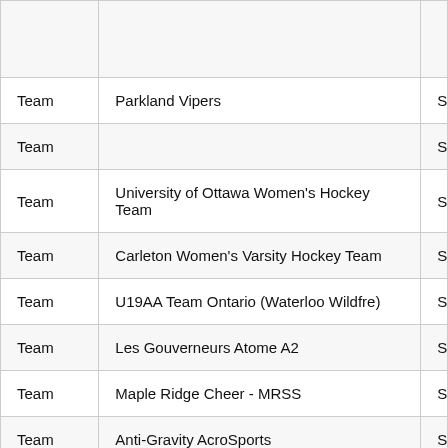| Type | Name | S |
| --- | --- | --- |
| Team | Parkland Vipers | S |
| Team |  | S |
| Team | University of Ottawa Women's Hockey Team | S |
| Team | Carleton Women's Varsity Hockey Team | S |
| Team | U19AA Team Ontario (Waterloo Wildfre) | S |
| Team | Les Gouverneurs Atome A2 | S |
| Team | Maple Ridge Cheer - MRSS | S |
| Team | Anti-Gravity AcroSports | S |
| Team | Team Impact Wrestling Club | S |
| Team |  | S |